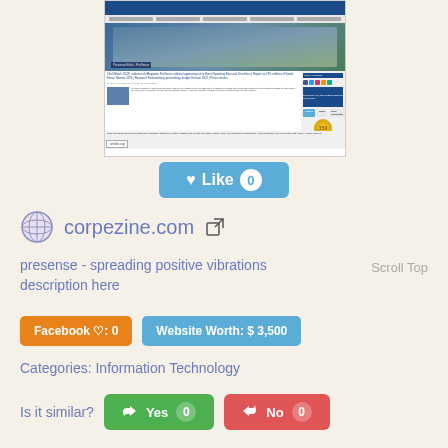[Figure (screenshot): Screenshot of corpezine.com website showing header, navigation, photo of people, and content areas with sitelike.org watermark]
♥ Like 0
corpezine.com ↗
presense - spreading positive vibrations description here
Scroll Top
Facebook ♡: 0
Website Worth: $ 3,500
Categories: Information Technology
Is it similar?
👍 Yes 0
👎 No 0